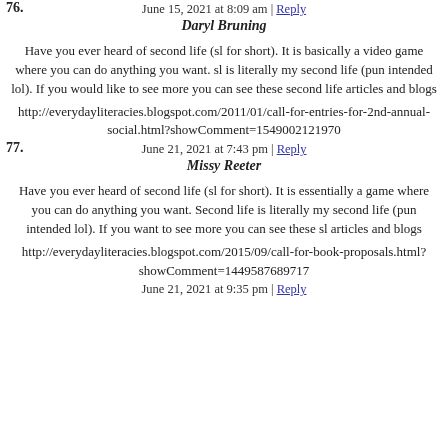June 15, 2021 at 8:09 am | Reply
76. Daryl Bruning
Have you ever heard of second life (sl for short). It is basically a video game where you can do anything you want. sl is literally my second life (pun intended lol). If you would like to see more you can see these second life articles and blogs
http://everydayliteracies.blogspot.com/2011/01/call-for-entries-for-2nd-annual-social.html?showComment=1549002121970
June 21, 2021 at 7:43 pm | Reply
77. Missy Reeter
Have you ever heard of second life (sl for short). It is essentially a game where you can do anything you want. Second life is literally my second life (pun intended lol). If you want to see more you can see these sl articles and blogs
http://everydayliteracies.blogspot.com/2015/09/call-for-book-proposals.html?showComment=1449587689717
June 21, 2021 at 9:35 pm | Reply